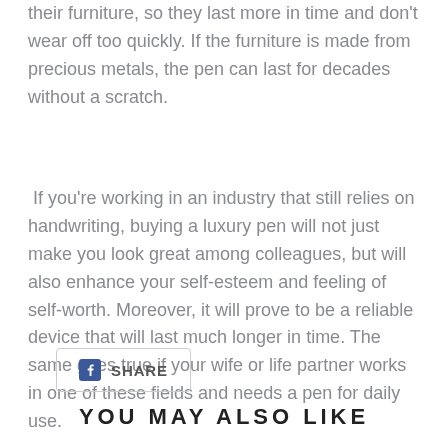their furniture, so they last more in time and don't wear off too quickly. If the furniture is made from precious metals, the pen can last for decades without a scratch.
If you're working in an industry that still relies on handwriting, buying a luxury pen will not just make you look great among colleagues, but will also enhance your self-esteem and feeling of self-worth. Moreover, it will prove to be a reliable device that will last much longer in time. The same goes true if your wife or life partner works in one of these fields and needs a pen for daily use.
[Figure (other): Facebook share button with 'SHARE' text]
YOU MAY ALSO LIKE